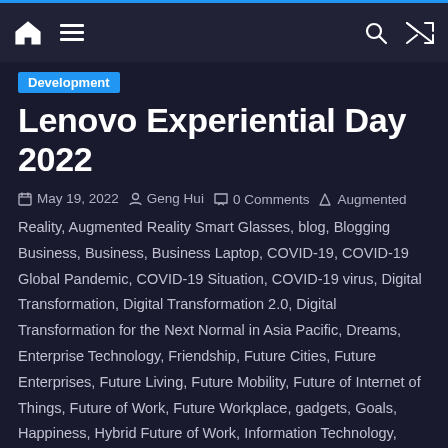Navigation bar with home, menu, search, and shuffle icons
Development
Lenovo Experiential Day 2022
May 19, 2022  Geng Hui  0 Comments  Augmented Reality, Augmented Reality Smart Glasses, blog, Blogging Business, Business, Business Laptop, COVID-19, COVID-19 Global Pandemic, COVID-19 Situation, COVID-19 virus, Digital Transformation, Digital Transformation 2.0, Digital Transformation for the Next Normal in Asia Pacific, Dreams, Enterprise Technology, Friendship, Future Cities, Future Enterprises, Future Living, Future Mobility, Future of Internet of Things, Future of Work, Future Workplace, gadgets, Goals, Happiness, Hybrid Future of Work, Information Technology, Inspirational, Internet Marketing, kindness, Lenovo, Lenovo Asset Recovery Services, Lenovo